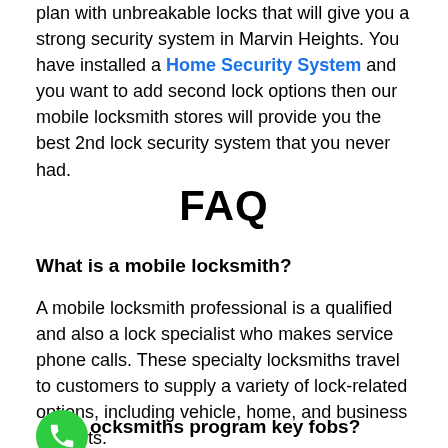plan with unbreakable locks that will give you a strong security system in Marvin Heights. You have installed a Home Security System and you want to add second lock options then our mobile locksmith stores will provide you the best 2nd lock security system that you never had.
FAQ
What is a mobile locksmith?
A mobile locksmith professional is a qualified and also a lock specialist who makes service phone calls. These specialty locksmiths travel to customers to supply a variety of lock-related options, including vehicle, home, and business lockouts.
ocksmiths program key fobs?